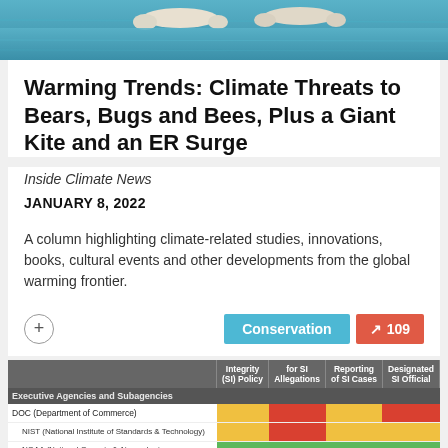[Figure (photo): Photo banner showing polar bears swimming in blue water, viewed from above]
Warming Trends: Climate Threats to Bears, Bugs and Bees, Plus a Giant Kite and an ER Surge
Inside Climate News
JANUARY 8, 2022
A column highlighting climate-related studies, innovations, books, cultural events and other developments from the global warming frontier.
|  | Integrity (SI) Policy | For SI Allegations | Reporting of SI Cases | Designated SI Official |
| --- | --- | --- | --- | --- |
| Executive Agencies and Subagencies |  |  |  |  |
| DOC (Department of Commerce) | yellow | red | yellow | red |
| NIST (National Institute of Standards & Technology) | yellow | red | yellow | yellow |
| NOAA (National Oceanic & Atmospheric Administration) | green | green | green | green |
| DOE (Department of Energy) | green | red | yellow | green |
| DOI (Department of the Interior) | green | green | green | green |
| FWS (Fish & Wildlife Service) | green | green | green | green |
| USGS (US Geological Survey) | green | green | green | green |
| HHS (Department of Health & Human Services) | yellow |  |  |  |